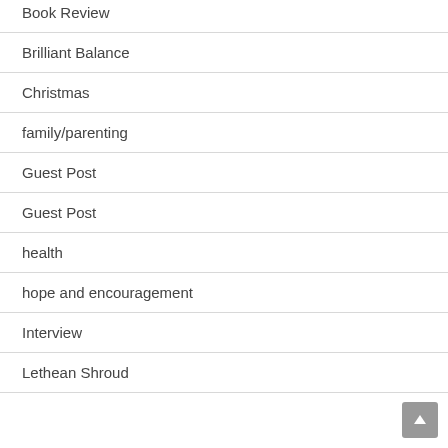Book Review
Brilliant Balance
Christmas
family/parenting
Guest Post
Guest Post
health
hope and encouragement
Interview
Lethean Shroud